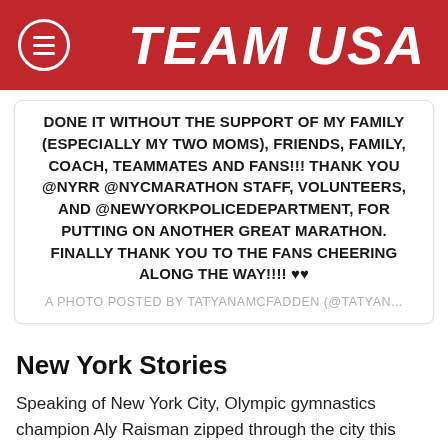TEAM USA
DONE IT WITHOUT THE SUPPORT OF MY FAMILY (ESPECIALLY MY TWO MOMS), FRIENDS, FAMILY, COACH, TEAMMATES AND FANS!!! THANK YOU @NYRR @NYCMARATHON STAFF, VOLUNTEERS, AND @NEWYORKPOLICEDEPARTMENT, FOR PUTTING ON ANOTHER GREAT MARATHON. FINALLY THANK YOU TO THE FANS CHEERING ALONG THE WAY!!!! ♥♥
A PHOTO POSTED BY TATYANAMCFADDEN (@TATYAN...
New York Stories
Speaking of New York City, Olympic gymnastics champion Aly Raisman zipped through the city this past week, making a new friend and dropping the puck in Brooklyn.